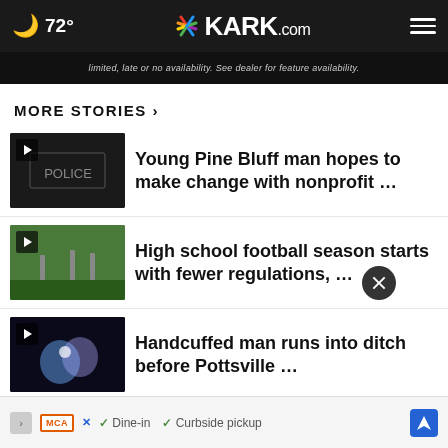72° KARK.com
[Figure (screenshot): Ad banner strip with small text: 'limited, late or no availability. See dealer for feature availability.']
MORE STORIES >
Young Pine Bluff man hopes to make change with nonprofit …
High school football season starts with fewer regulations, …
Handcuffed man runs into ditch before Pottsville …
COVID-19 in Arkansas: Active causes see slight uptick …
McDonald's to 'Round …
[Figure (screenshot): Ad banner at bottom showing McDonald's ad with Dine-in and Curbside pickup options and navigation icon]